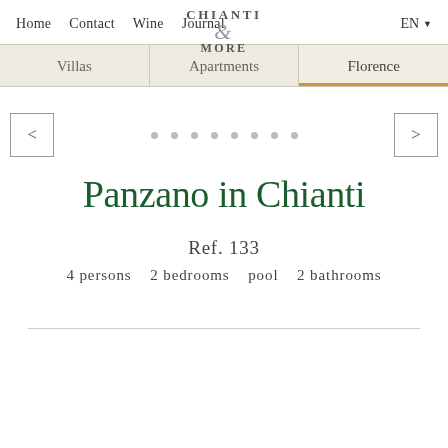Home  Contact  Wine  Journal
[Figure (logo): Chianti & More logo with ampersand]
EN
Villas  Apartments  Florence
[Figure (infographic): Carousel navigation with left arrow, 8 dots, right arrow]
Panzano in Chianti
Ref. 133
4 persons  2 bedrooms  pool  2 bathrooms